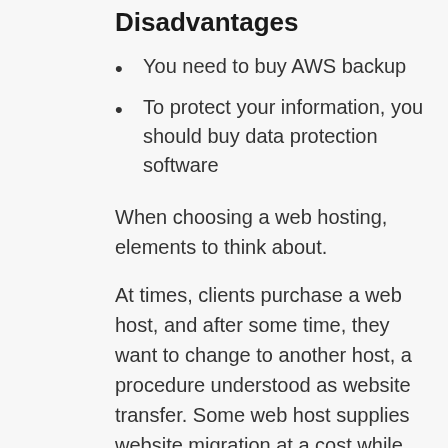Disadvantages
You need to buy AWS backup
To protect your information, you should buy data protection software
When choosing a web hosting, elements to think about.
At times, clients purchase a web host, and after some time, they want to change to another host, a procedure understood as website transfer. Some web host supplies website migration at a cost while others supply the migration for complimentary.
Some restrictions follow the storage and bandwidth from hosting providers. When